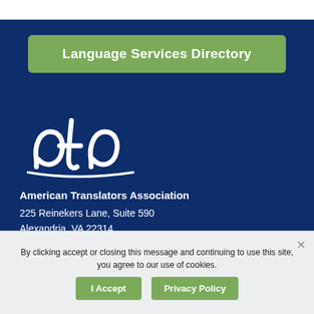Language Services Directory
[Figure (logo): ATA (American Translators Association) cursive white logo on dark blue background]
American Translators Association
225 Reinekers Lane, Suite 590
Alexandria, VA 22314
PHONE +1-703-683-6100
By clicking accept or closing this message and continuing to use this site, you agree to our use of cookies.